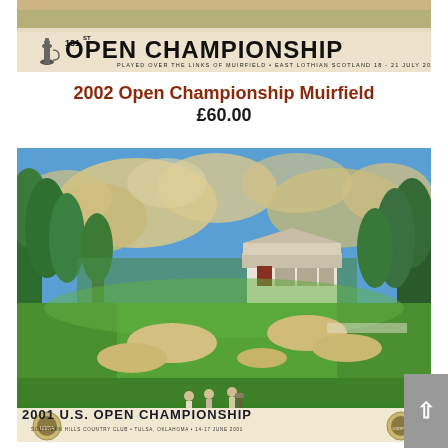[Figure (illustration): 131st Open Championship banner poster showing sandy/links landscape at top, with claret jug trophy logo, title 'OPEN CHAMPIONSHIP' and subtitle 'PLAYED OVER THE LINKS OF MUIRFIELD • EAST LOTHIAN SCOTLAND 18 - 21 JULY 2002']
2002 Open Championship Muirfield £60.00
[Figure (illustration): 2001 U.S. Open Championship poster showing illustrated golf course scene with fairway, sand bunkers, trees, golfers walking, and clubhouse in background. Bottom banner reads '2001 U.S. OPEN CHAMPIONSHIP SOUTHERN HILLS COUNTRY CLUB • TULSA, OKLAHOMA • 14-17 JUNE 2001']